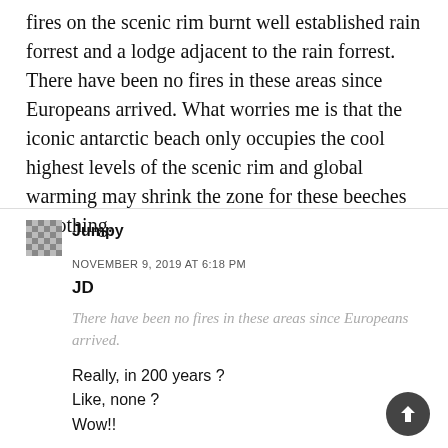fires on the scenic rim burnt well established rain forrest and a lodge adjacent to the rain forrest. There have been no fires in these areas since Europeans arrived. What worries me is that the iconic antarctic beach only occupies the cool highest levels of the scenic rim and global warming may shrink the zone for these beeches to nothing.
Jumpy
NOVEMBER 9, 2019 AT 6:18 PM
JD
There have been no fires in these areas since Europeans arrived.
Really, in 200 years ?
Like, none ?
Wow!!